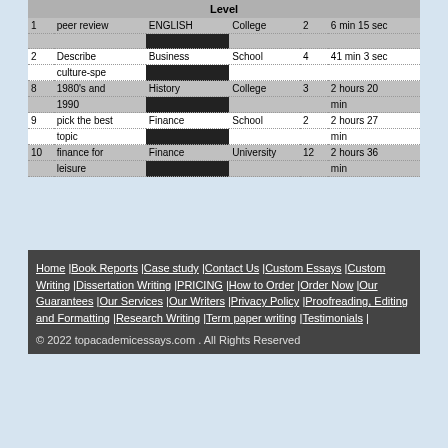| # | Topic | Subject | Level | Pages | Deadline |
| --- | --- | --- | --- | --- | --- |
| 1 | peer review ENGLISH composi | ENGLISH composi | College | 2 | 6 min 15 sec |
| 2 | Describe culture-spe | Business | School | 4 | 41 min 3 sec |
| 8 | 1980's and 1990 | History | College | 3 | 2 hours 20 min |
| 9 | pick the best topic | Finance | School | 2 | 2 hours 27 min |
| 10 | finance for leisure | Finance | University | 12 | 2 hours 36 min |
Home | Book Reports | Case study | Contact Us | Custom Essays | Custom Writing | Dissertation Writing | PRICING | How to Order | Order Now | Our Guarantees | Our Services | Our Writers | Privacy Policy | Proofreading, Editing and Formatting | Research Writing | Term paper writing | Testimonials |
© 2022 topacademicessays.com . All Rights Reserved